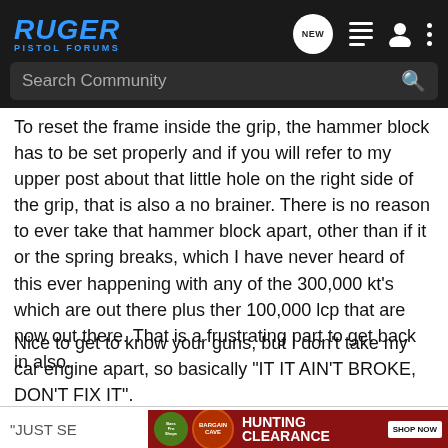RUGER PISTOL FORUMS
To reset the frame inside the grip, the hammer block has to be set properly and if you will refer to my upper post about that little hole on the right side of the grip, that is also a no brainer. There is no reason to ever take that hammer block apart, other than if it or the spring breaks, which I have never heard of this ever happening with any of the 300,000 kt's which are out there plus ther 100,000 lcp that are now out there. That is a frustrating part to get back in also.
Nice to get to know your guns, but I don't take my car engine apart, so basically "IT IT AIN'T BROKE, DON'T FIX IT".
[Figure (screenshot): Bass Pro Shops Hunting Bargain Clearance advertisement banner with Shop Now button]